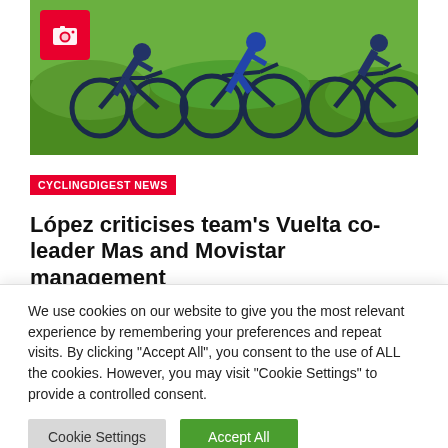[Figure (photo): Cyclists racing on road with green background, camera icon overlay in top-left corner]
CYCLINGDIGEST NEWS
López criticises team's Vuelta co-leader Mas and Movistar management
We use cookies on our website to give you the most relevant experience by remembering your preferences and repeat visits. By clicking "Accept All", you consent to the use of ALL the cookies. However, you may visit "Cookie Settings" to provide a controlled consent.
Cookie Settings
Accept All